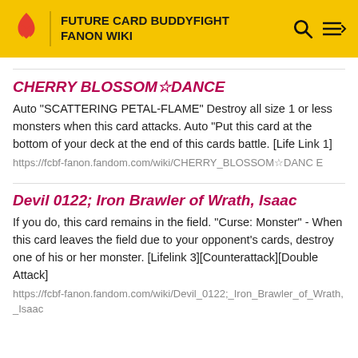FUTURE CARD BUDDYFIGHT FANON WIKI
CHERRY BLOSSOM☆DANCE
Auto "SCATTERING PETAL-FLAME" Destroy all size 1 or less monsters when this card attacks. Auto "Put this card at the bottom of your deck at the end of this cards battle. [Life Link 1]
https://fcbf-fanon.fandom.com/wiki/CHERRY_BLOSSOM☆DANCE
Devil 0122; Iron Brawler of Wrath, Isaac
If you do, this card remains in the field. "Curse: Monster" - When this card leaves the field due to your opponent's cards, destroy one of his or her monster. [Lifelink 3][Counterattack][Double Attack]
https://fcbf-fanon.fandom.com/wiki/Devil_0122;_Iron_Brawler_of_Wrath,_Isaac